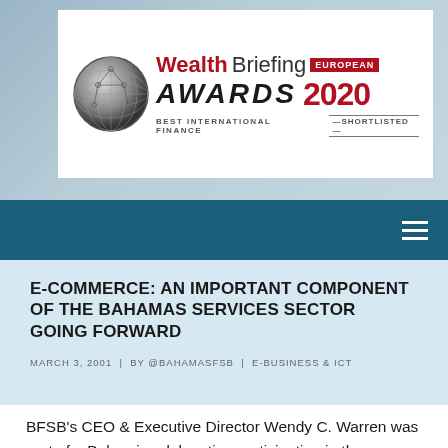[Figure (logo): WealthBriefing European Awards 2020 – Best International Finance – Shortlisted banner with globe logo]
E-COMMERCE: AN IMPORTANT COMPONENT OF THE BAHAMAS SERVICES SECTOR GOING FORWARD
MARCH 3, 2001 | BY @BAHAMASFSB | E-BUSINESS & ICT
BFSB's CEO & Executive Director Wendy C. Warren was part of a Bahamian delegation participating in the February 19-20 Offshore E-Commerce Strategies Conference in Toronto, Canada. Ms.